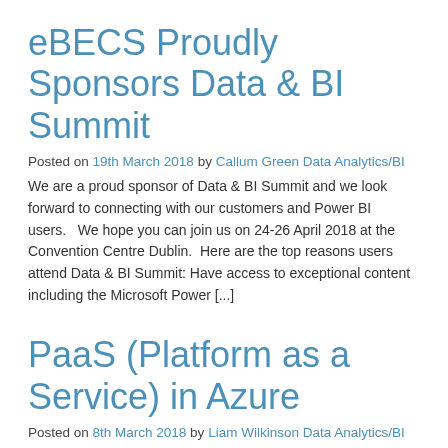eBECS Proudly Sponsors Data & BI Summit
Posted on 19th March 2018 by Callum Green Data Analytics/BI
We are a proud sponsor of Data & BI Summit and we look forward to connecting with our customers and Power BI users.   We hope you can join us on 24-26 April 2018 at the Convention Centre Dublin.  Here are the top reasons users attend Data & BI Summit: Have access to exceptional content including the Microsoft Power [...]
PaaS (Platform as a Service) in Azure
Posted on 8th March 2018 by Liam Wilkinson Data Analytics/BI
I love the cloud and PaaS in Azure! I think the first time I heard of it was way back when Google was launching its Google docs style apps and to me, it just made so much sense. No expensive upfront payments, your documents and work items available across all your